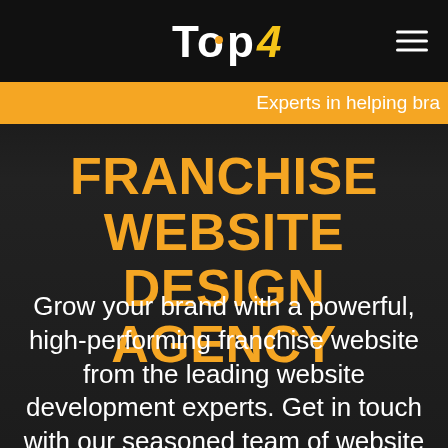Top4
Experts in helping bra
FRANCHISE WEBSITE DESIGN AGENCY
Grow your brand with a powerful, high-performing franchise website from the leading website development experts. Get in touch with our seasoned team of website designers for interactive, custom